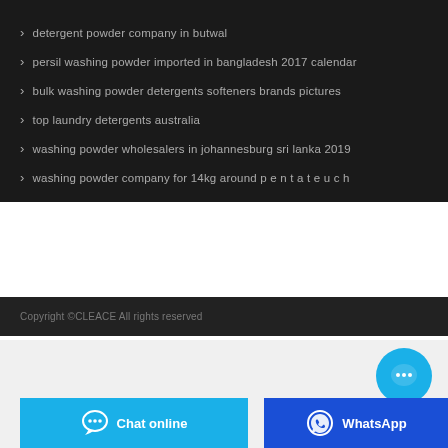detergent powder company in butwal
persil washing powder imported in bangladesh 2017 calendar
bulk washing powder detergents softeners brands pictures
top laundry detergents australia
washing powder wholesalers in johannesburg sri lanka 2019
washing powder company for 14kg around p e n t a t e u c h
Copyright ©CLEACE All rights reserved
[Figure (illustration): Cyan circular chat bubble button with three dots]
[Figure (illustration): Cyan chat online button with speech bubble icon]
[Figure (illustration): Dark blue WhatsApp button with WhatsApp icon]